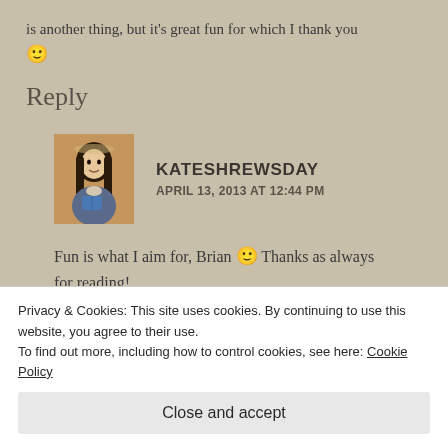is another thing, but it’s great fun for which I thank you 😊
Reply
[Figure (photo): Avatar image of Kateshrewsday - a painted illustration of a figure with long dark hair]
KATESHREWSDAY
APRIL 13, 2013 AT 12:44 PM
Fun is what I aim for, Brian 😊 Thanks as always for reading!
Privacy & Cookies: This site uses cookies. By continuing to use this website, you agree to their use.
To find out more, including how to control cookies, see here: Cookie Policy
Close and accept